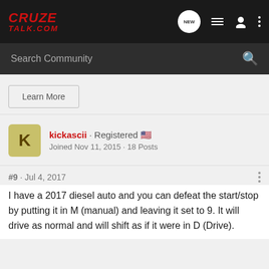CRUZE TALK.COM
Search Community
Learn More
kickascii · Registered · Joined Nov 11, 2015 · 18 Posts
#9 · Jul 4, 2017
I have a 2017 diesel auto and you can defeat the start/stop by putting it in M (manual) and leaving it set to 9. It will drive as normal and will shift as if it were in D (Drive).